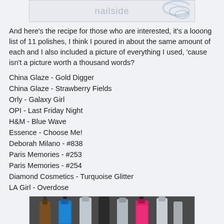[Figure (photo): Top portion of a nailside blog image with swirled nail polish texture and 'nailside' watermark text]
And here's the recipe for those who are interested, it's a looong list of 11 polishes, I think I poured in about the same amount of each and I also included a picture of everything I used, 'cause isn't a picture worth a thousand words?
China Glaze - Gold Digger
China Glaze - Strawberry Fields
Orly - Galaxy Girl
OPI - Last Friday Night
H&M - Blue Wave
Essence - Choose Me!
Deborah Milano - #838
Paris Memories - #253
Paris Memories - #254
Diamond Cosmetics - Turquoise Glitter
LA Girl - Overdose
[Figure (photo): Photo of several nail polish bottles standing upright on a dark surface, including blue glitter, silver, and pink bottles]